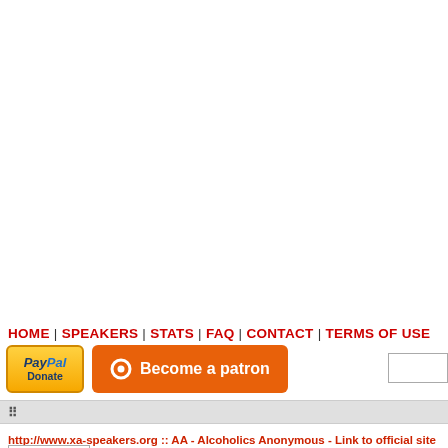HOME | SPEAKERS | STATS | FAQ | CONTACT | TERMS OF USE
[Figure (screenshot): PayPal Donate button and Become a patron orange button, with a search input box on the right]
[Figure (screenshot): Browser toolbar strip with drag handle dots]
http://www.xa-speakers.org :: AA - Alcoholics Anonymous - Link to official site